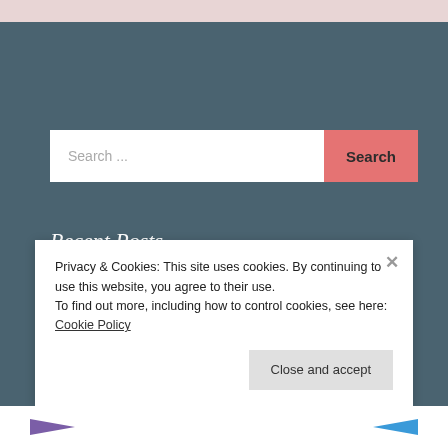[Figure (screenshot): Pink/beige top bar strip at top of page]
Search ...
Search
Recent Posts
Shop & Sip Event
#OOTD Wedge Sneakers
Privacy & Cookies: This site uses cookies. By continuing to use this website, you agree to their use.
To find out more, including how to control cookies, see here: Cookie Policy
Close and accept